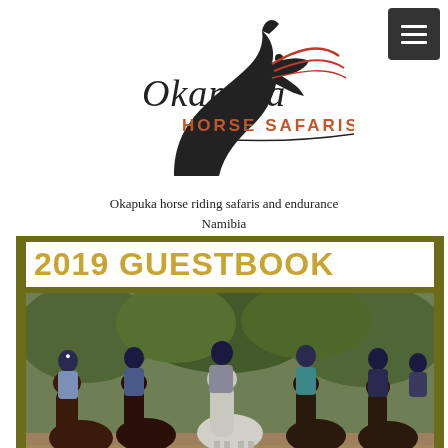[Figure (logo): Okapuka Horse Safaris logo with stylized horse head silhouette and cursive 'Okapuka' text above 'HORSE SAFARIS' in orange/brown]
Okapuka horse riding safaris and endurance Namibia
2019 GUESTBOOK
[Figure (photo): Group of six riders on horseback, wearing helmets and riding gear, riding toward the camera on a dirt path surrounded by green vegetation]